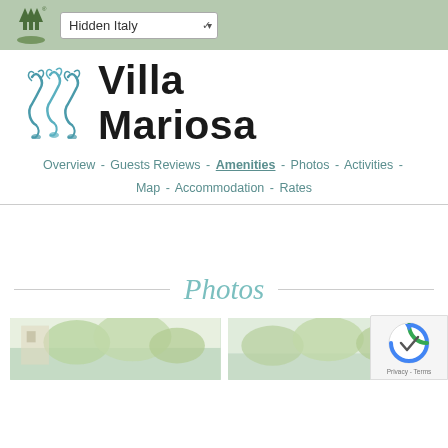Hidden Italy — dropdown navigation bar with logo
[Figure (logo): Villa Mariosa decorative logo: three seahorse-like figures in blue-green]
Villa Mariosa
Overview - Guests Reviews - Amenities - Photos - Activities - Map - Accommodation - Rates
Photos
[Figure (photo): Two partial thumbnail photos visible at bottom of page — outdoor scenes with trees/vegetation]
[Figure (logo): Google reCAPTCHA badge with spinning icon and Privacy/Terms links]